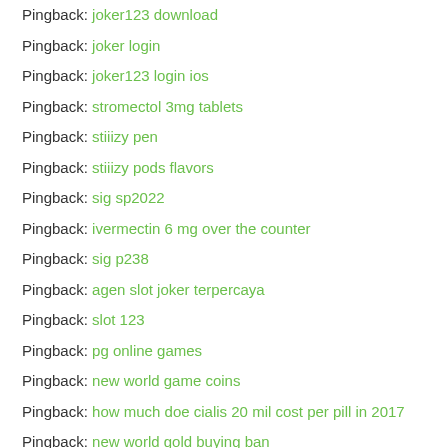Pingback: joker123 download
Pingback: joker login
Pingback: joker123 login ios
Pingback: stromectol 3mg tablets
Pingback: stiiizy pen
Pingback: stiiizy pods flavors
Pingback: sig sp2022
Pingback: ivermectin 6 mg over the counter
Pingback: sig p238
Pingback: agen slot joker terpercaya
Pingback: slot 123
Pingback: pg online games
Pingback: new world game coins
Pingback: how much doe cialis 20 mil cost per pill in 2017
Pingback: new world gold buying ban